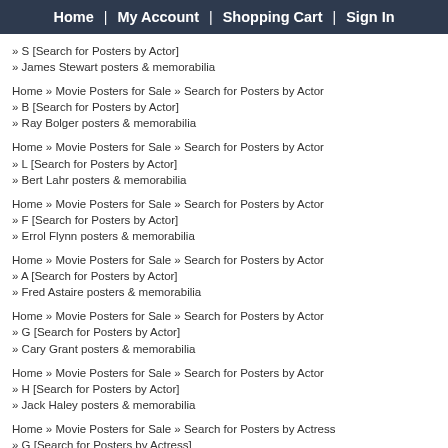Home | My Account | Shopping Cart | Sign In
» S [Search for Posters by Actor]
» James Stewart posters & memorabilia
Home » Movie Posters for Sale » Search for Posters by Actor
» B [Search for Posters by Actor]
» Ray Bolger posters & memorabilia
Home » Movie Posters for Sale » Search for Posters by Actor
» L [Search for Posters by Actor]
» Bert Lahr posters & memorabilia
Home » Movie Posters for Sale » Search for Posters by Actor
» F [Search for Posters by Actor]
» Errol Flynn posters & memorabilia
Home » Movie Posters for Sale » Search for Posters by Actor
» A [Search for Posters by Actor]
» Fred Astaire posters & memorabilia
Home » Movie Posters for Sale » Search for Posters by Actor
» G [Search for Posters by Actor]
» Cary Grant posters & memorabilia
Home » Movie Posters for Sale » Search for Posters by Actor
» H [Search for Posters by Actor]
» Jack Haley posters & memorabilia
Home » Movie Posters for Sale » Search for Posters by Actress
» G [Search for Posters by Actress]
» Judy Garland posters & memorabilia